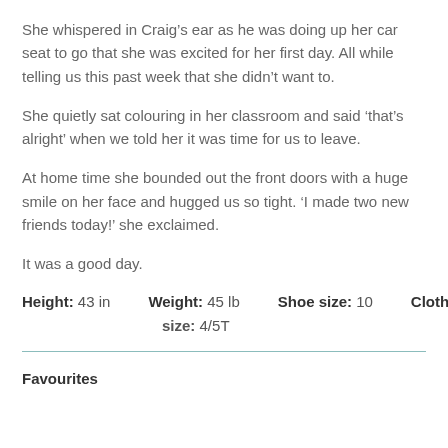She whispered in Craig’s ear as he was doing up her car seat to go that she was excited for her first day. All while telling us this past week that she didn’t want to.
She quietly sat colouring in her classroom and said ‘that’s alright’ when we told her it was time for us to leave.
At home time she bounded out the front doors with a huge smile on her face and hugged us so tight. ‘I made two new friends today!’ she exclaimed.
It was a good day.
Height: 43 in    Weight: 45 lb    Shoe size: 10    Clothing size: 4/5T
Favourites